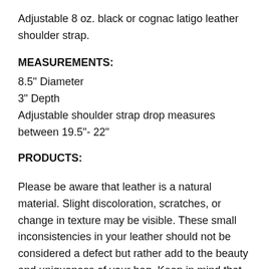Adjustable 8 oz. black or cognac latigo leather shoulder strap.
MEASUREMENTS:
8.5" Diameter
3" Depth
Adjustable shoulder strap drop measures between 19.5"- 22"
PRODUCTS:
Please be aware that leather is a natural material. Slight discoloration, scratches, or change in texture may be visible. These small inconsistencies in your leather should not be considered a defect but rather add to the beauty and uniqueness of your bag. Keep in mind that before an item is made, each hide is inspected. We aim to provide the best looking piece of leather to create your bag. Due to the